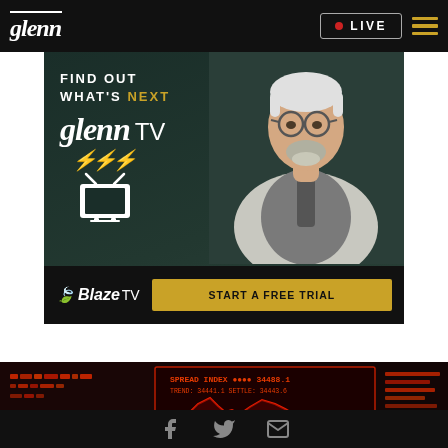glenn | LIVE
[Figure (advertisement): Glenn TV / BlazeTV advertisement banner. Shows 'FIND OUT WHAT'S NEXT' text, 'glenn TV' logo, BlazeTV logo, and 'START A FREE TRIAL' button on dark green background with a man in glasses and blazer on the right side.]
[Figure (photo): Dark photo of a stock market ticker/display screen showing red illuminated numbers and a red line graph on a dark background.]
Facebook | Twitter | Email social icons